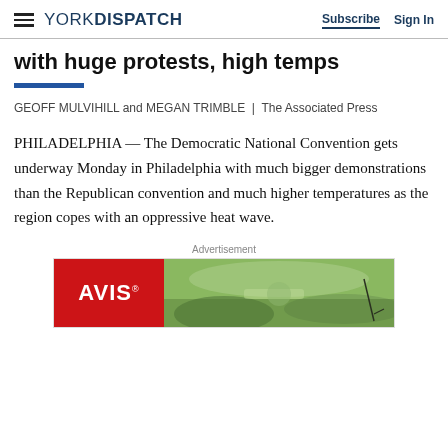YORK DISPATCH | Subscribe  Sign In
with huge protests, high temps
GEOFF MULVIHILL and MEGAN TRIMBLE | The Associated Press
PHILADELPHIA — The Democratic National Convention gets underway Monday in Philadelphia with much bigger demonstrations than the Republican convention and much higher temperatures as the region copes with an oppressive heat wave.
Advertisement
[Figure (other): AVIS car rental advertisement featuring golf course landscape]